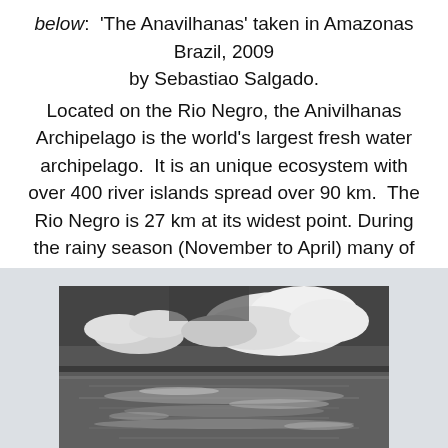below: 'The Anavilhanas' taken in Amazonas Brazil, 2009 by Sebastiao Salgado.
Located on the Rio Negro, the Anivilhanas Archipelago is the world's largest fresh water archipelago. It is an unique ecosystem with over 400 river islands spread over 90 km. The Rio Negro is 27 km at its widest point. During the rainy season (November to April) many of these islands are underwater.
[Figure (photo): Black and white photograph of 'The Anavilhanas' showing dramatic cloudscape reflected in water, taken in Amazonas Brazil, 2009 by Sebastiao Salgado.]